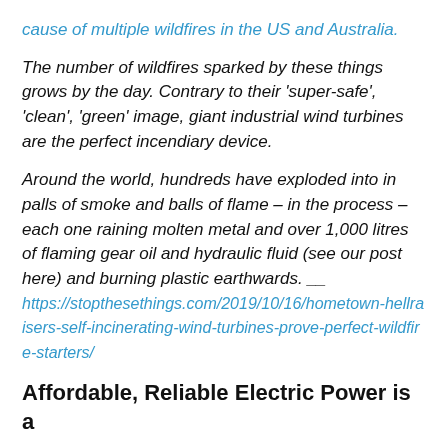cause of multiple wildfires in the US and Australia.
The number of wildfires sparked by these things grows by the day. Contrary to their 'super-safe', 'clean', 'green' image, giant industrial wind turbines are the perfect incendiary device.
Around the world, hundreds have exploded into in palls of smoke and balls of flame – in the process – each one raining molten metal and over 1,000 litres of flaming gear oil and hydraulic fluid (see our post here) and burning plastic earthwards. __ https://stopthesethings.com/2019/10/16/hometown-hellraisers-self-incinerating-wind-turbines-prove-perfect-wildfire-starters/
Affordable, Reliable Electric Power is a